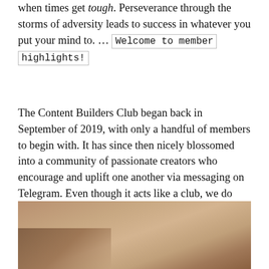when times get tough. Perseverance through the storms of adversity leads to success in whatever you put your mind to. … Welcome to member highlights!
The Content Builders Club began back in September of 2019, with only a handful of members to begin with. It has since then nicely blossomed into a community of passionate creators who encourage and uplift one another via messaging on Telegram. Even though it acts like a club, we do gladly welcome those who are interested in joining with open arms. The internet is not the ideal place for one to roam around on their own.
[Figure (photo): Close-up photograph of a hand or arm with warm brown/tan tones, partially cropped at the bottom of the page]